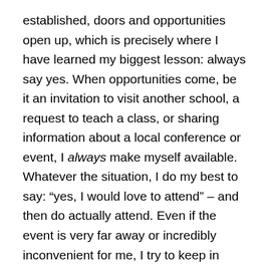established, doors and opportunities open up, which is precisely where I have learned my biggest lesson: always say yes. When opportunities come, be it an invitation to visit another school, a request to teach a class, or sharing information about a local conference or event, I always make myself available. Whatever the situation, I do my best to say: “yes, I would love to attend” – and then do actually attend. Even if the event is very far away or incredibly inconvenient for me, I try to keep in mind my top responsibility is conducting fieldwork research and gathering as much data as possible, so I can’t afford to miss an opportunity. And most importantly, one opportunity usually leads to another.
Saying yes has led to significant advancements in my